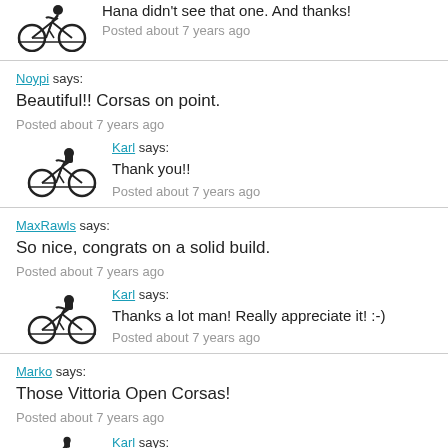Hana didn't see that one. And thanks!
Posted about 7 years ago
Karl says:
Thank you!!
Posted about 7 years ago
Noypi says:
Beautiful!! Corsas on point.
Posted about 7 years ago
Karl says:
Thank you!!
Posted about 7 years ago
MaxRawls says:
So nice, congrats on a solid build.
Posted about 7 years ago
Karl says:
Thanks a lot man! Really appreciate it! :-)
Posted about 7 years ago
Marko says:
Those Vittoria Open Corsas!
Posted about 7 years ago
Karl says: